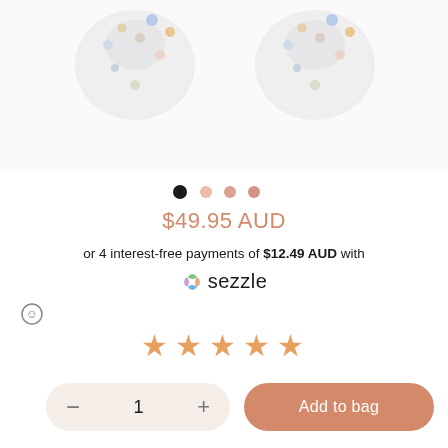[Figure (photo): Two crystal/rhinestone embellished hair clips or accessories shown side by side on white background, partially cropped at top]
• • • •
$49.95 AUD
or 4 interest-free payments of $12.49 AUD with sezzle
[Figure (logo): Sezzle logo with multicolor S icon]
[Figure (infographic): Info/emoji icon]
[Figure (infographic): 5 star rating in orange/gold]
1
Add to bag